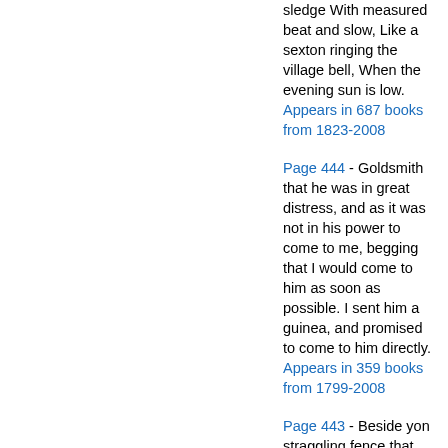sledge With measured beat and slow, Like a sexton ringing the village bell, When the evening sun is low.
Appears in 687 books from 1823-2008
Page 444 - Goldsmith that he was in great distress, and as it was not in his power to come to me, begging that I would come to him as soon as possible. I sent him a guinea, and promised to come to him directly.
Appears in 359 books from 1799-2008
Page 443 - Beside yon straggling fence that